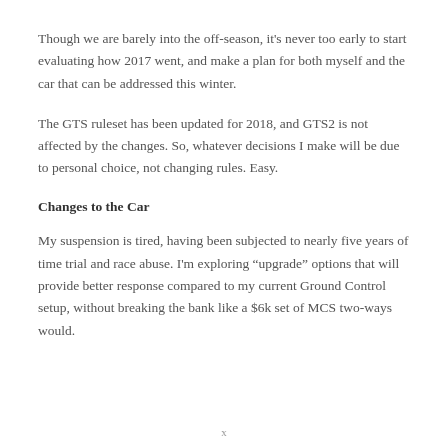Though we are barely into the off-season, it's never too early to start evaluating how 2017 went, and make a plan for both myself and the car that can be addressed this winter.
The GTS ruleset has been updated for 2018, and GTS2 is not affected by the changes. So, whatever decisions I make will be due to personal choice, not changing rules. Easy.
Changes to the Car
My suspension is tired, having been subjected to nearly five years of time trial and race abuse. I'm exploring “upgrade” options that will provide better response compared to my current Ground Control setup, without breaking the bank like a $6k set of MCS two-ways would.
x